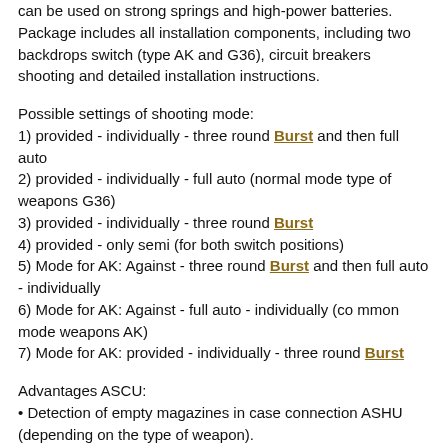can be used on strong springs and high-power batteries. Package includes all installation components, including two backdrops switch (type AK and G36), circuit breakers shooting and detailed installation instructions.
Possible settings of shooting mode:
1) provided - individually - three round Burst and then full auto
2) provided - individually - full auto (normal mode type of weapons G36)
3) provided - individually - three round Burst
4) provided - only semi (for both switch positions)
5) Mode for AK: Against - three round Burst and then full auto - individually
6) Mode for AK: Against - full auto - individually (co mmon mode weapons AK)
7) Mode for AK: provided - individually - three round Burst
Advantages ASCU:
• Detection of empty magazines in case connection ASHU (depending on the type of weapon).
• Detection of mechanical failure in the gearbox.
• Always complete the entire cycle of rotation of the gears